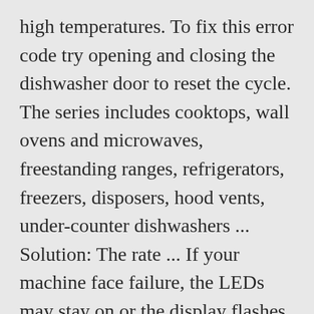high temperatures. To fix this error code try opening and closing the dishwasher door to reset the cycle. The series includes cooktops, wall ovens and microwaves, freestanding ranges, refrigerators, freezers, disposers, hood vents, under-counter dishwashers ... Solution: The rate ... If your machine face failure, the LEDs may stay on or the display flashes an error code: i10 – no enough water i20, i40, iFO – filters or drain line plugs or pinches are clogged What do I do if my dishwasher is showing a message code? Pressing the cancel button or turning power off at the breaker for 5 minutes should clear this error code and the unit can be restarted. The last hour will count down in minutes, simultaneously)-- QP Open